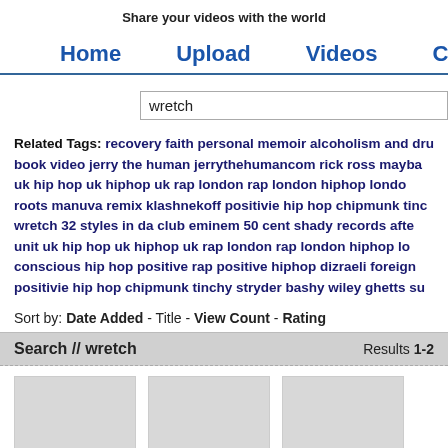Share your videos with the world
Home  Upload  Videos  Categories  P…
wretch
Related Tags: recovery faith personal memoir alcoholism and drug book video jerry the human jerrythehumancom rick ross mayback uk hip hop uk hiphop uk rap london rap london hiphop london roots manuva remix klashnekoff positivie hip hop chipmunk tinc wretch 32 styles in da club eminem 50 cent shady records afte unit uk hip hop uk hiphop uk rap london rap london hiphop lo conscious hip hop positive rap positive hiphop dizraeli foreign positivie hip hop chipmunk tinchy stryder bashy wiley ghetts sw
Sort by: Date Added - Title - View Count - Rating
Search // wretch   Results 1-2
[Figure (other): Three video thumbnails (gray placeholder boxes)]